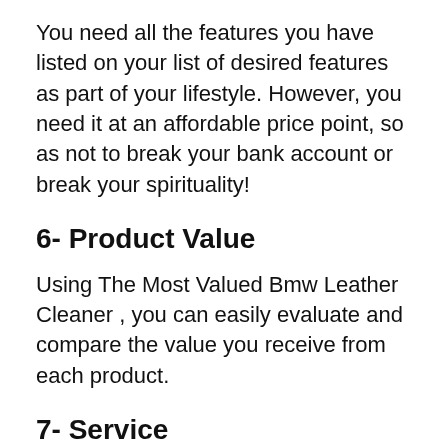You need all the features you have listed on your list of desired features as part of your lifestyle. However, you need it at an affordable price point, so as not to break your bank account or break your spirituality!
6- Product Value
Using The Most Valued Bmw Leather Cleaner , you can easily evaluate and compare the value you receive from each product.
7- Service
It is imperative to be aware of the quality and durability before making any purchases. It is also critical to consider how